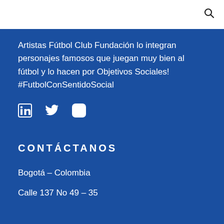Artistas Fútbol Club Fundación lo integran personajes famosos que juegan muy bien al fútbol y lo hacen por Objetivos Sociales! #FutbolConSentidoSocial
[Figure (other): Social media icons: LinkedIn, Twitter, Instagram]
CONTÁCTANOS
Bogotá – Colombia
Calle 137 No 49 – 35